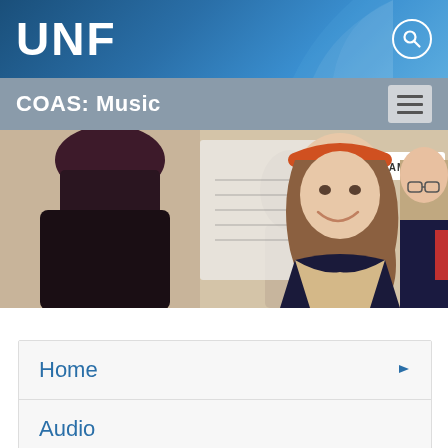UNF
COAS: Music
[Figure (photo): Three students in a music classroom near a Yamaha piano; a young woman with an orange headband is smiling.]
Home
Audio
Auditions
Calendar